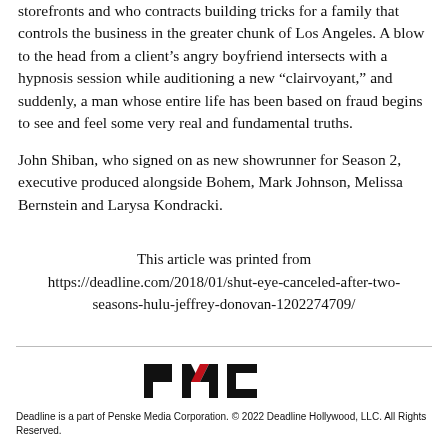storefronts and who contracts building tricks for a family that controls the business in the greater chunk of Los Angeles. A blow to the head from a client’s angry boyfriend intersects with a hypnosis session while auditioning a new “clairvoyant,” and suddenly, a man whose entire life has been based on fraud begins to see and feel some very real and fundamental truths.
John Shiban, who signed on as new showrunner for Season 2, executive produced alongside Bohem, Mark Johnson, Melissa Bernstein and Larysa Kondracki.
This article was printed from https://deadline.com/2018/01/shut-eye-canceled-after-two-seasons-hulu-jeffrey-donovan-1202274709/
[Figure (logo): PMC logo in black and red lettering]
Deadline is a part of Penske Media Corporation. © 2022 Deadline Hollywood, LLC. All Rights Reserved.